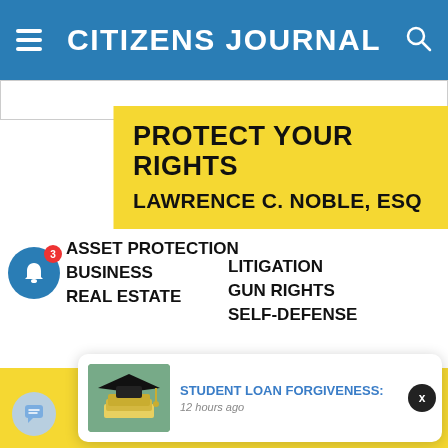CITIZENS JOURNAL
[Figure (screenshot): White content area with search bar/input at top]
[Figure (infographic): Yellow banner advertisement: PROTECT YOUR RIGHTS / LAWRENCE C. NOBLE, ESQ with services: ASSET PROTECTION, BUSINESS, REAL ESTATE, LITIGATION, GUN RIGHTS, SELF-DEFENSE]
[Figure (infographic): Notification popup: STUDENT LOAN FORGIVENESS: 12 hours ago with graduation cap and money image thumbnail]
N